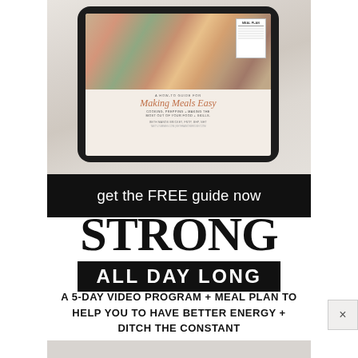[Figure (photo): Advertisement showing a tablet device displaying a cookbook/guide called 'Making Meals Easy' with food photography in the background on a marble surface. Below the image is a black CTA bar reading 'get the FREE guide now'.]
STRONG ALL DAY LONG
A 5-DAY VIDEO PROGRAM + MEAL PLAN TO HELP YOU TO HAVE BETTER ENERGY + DITCH THE CONSTANT HANGER + CRAVINGS – FOR GOOD!
[Figure (other): Bottom gray strip partially visible - bottom of next section]